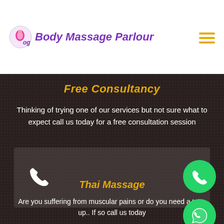[Figure (logo): Body Massage Parlour logo with purple italic text and icon]
Free Consultancy
Thinking of trying one of our services but not sure what to expect call us today for a free consultation session
[Figure (other): Phone call box with white phone icon on dark background]
Thai Massage
Are you suffering from muscular pains or do you need a tune up.. If so call us today
[Figure (other): Green WhatsApp-style phone button]
[Figure (other): Green WhatsApp button]